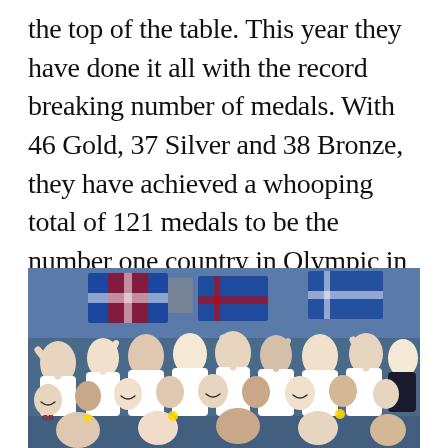the top of the table. This year they have done it all with the record breaking number of medals. With 46 Gold, 37 Silver and 38 Bronze, they have achieved a whooping total of 121 medals to be the number one country in Olympic in 2016.
[Figure (photo): Group photo of British Olympic team members in white uniforms celebrating with medals, waving fists and smiling, with Union Jack flags visible in the background.]